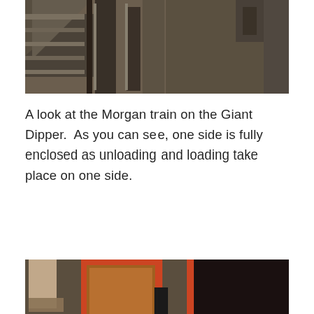[Figure (photo): Close-up view of a roller coaster train track and car undercarriage in a station, showing metal rails and car components from above.]
A look at the Morgan train on the Giant Dipper.  As you can see, one side is fully enclosed as unloading and loading take place on one side.
[Figure (photo): Close-up of the side of an orange roller coaster train car with decorative black zigzag trim, rivets, and metal hardware, showing the loading platform and track area.]